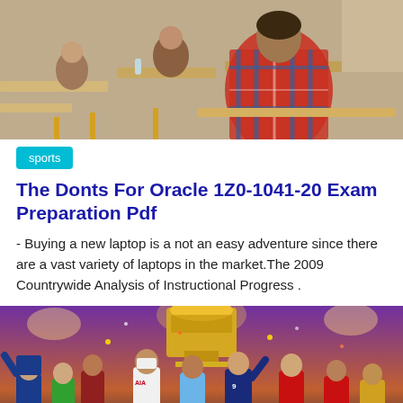[Figure (photo): Students sitting at desks in an exam hall, rear view showing a student in a plaid shirt writing.]
sports
The Donts For Oracle 1Z0-1041-20 Exam Preparation Pdf
- Buying a new laptop is a not an easy adventure since there are a vast variety of laptops in the market.The 2009 Countrywide Analysis of Instructional Progress .
[Figure (photo): Football players from multiple Premier League teams celebrating together on a pitch with a large trophy in the background.]